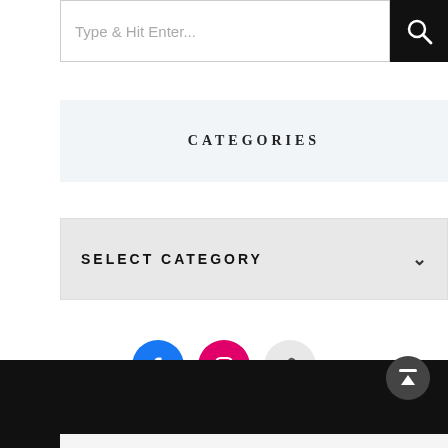[Figure (screenshot): Search bar with placeholder text 'Type & Hit Enter...' and black search button with magnifying glass icon]
CATEGORIES
[Figure (screenshot): Dropdown selector showing 'SELECT CATEGORY' with chevron/arrow icon]
[Figure (infographic): Three social media icon circles: Facebook (blue), Instagram (pink/red), and a chain-link icon (light grey)]